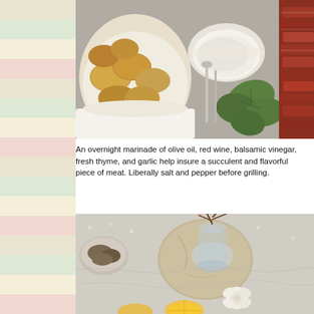[Figure (photo): Overhead view of a food spread with rolls in a white cloth-lined basket, a small white bowl of creamy dipping sauce, fresh ivy leaves, silverware, and sliced grilled red meat on the right side, all on a gray surface.]
An overnight marinade of olive oil, red wine, balsamic vinegar, fresh thyme, and garlic help insure a succulent and flavorful piece of meat. Liberally salt and pepper before grilling.
[Figure (photo): Table setting with a white lace tablecloth, a round marble board with a glass vase containing bare branches and small flowers, a small bowl of dried ingredients, a white flower decoration, and sliced citrus fruit at the bottom.]